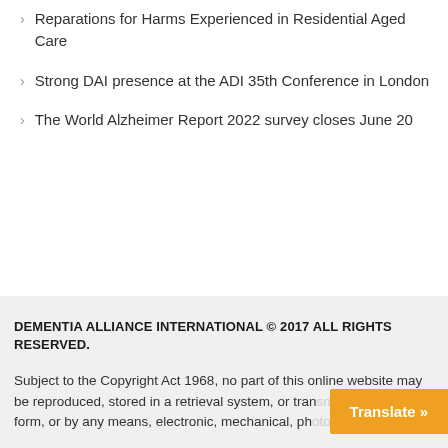Reparations for Harms Experienced in Residential Aged Care
Strong DAI presence at the ADI 35th Conference in London
The World Alzheimer Report 2022 survey closes June 20
DEMENTIA ALLIANCE INTERNATIONAL © 2017 ALL RIGHTS RESERVED.
Subject to the Copyright Act 1968, no part of this online website may be reproduced, stored in a retrieval system, or transmitted in any form, or by any means, electronic, mechanical, pho...